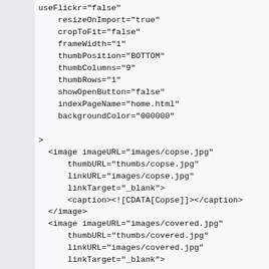useFlickr="false"
    resizeOnImport="true"
    cropToFit="false"
    frameWidth="1"
    thumbPosition="BOTTOM"
    thumbColumns="9"
    thumbRows="1"
    showOpenButton="false"
    indexPageName="home.html"
    backgroundColor="000000"

>
  <image imageURL="images/copse.jpg"
      thumbURL="thumbs/copse.jpg"
      linkURL="images/copse.jpg"
      linkTarget="_blank">
      <caption><![CDATA[Copse]]></caption>
  </antml:image>
  <image imageURL="images/covered.jpg"
      thumbURL="thumbs/covered.jpg"
      linkURL="images/covered.jpg"
      linkTarget="_blank">